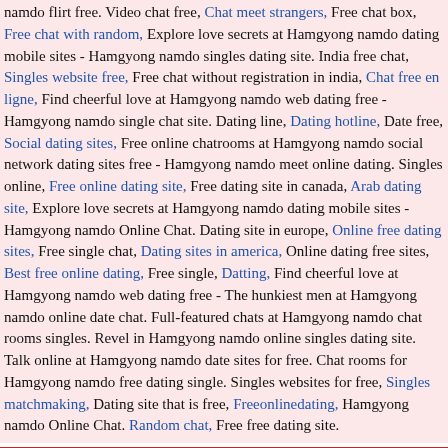namdo flirt free. Video chat free, Chat meet strangers, Free chat box, Free chat with random, Explore love secrets at Hamgyong namdo dating mobile sites - Hamgyong namdo singles dating site. India free chat, Singles website free, Free chat without registration in india, Chat free en ligne, Find cheerful love at Hamgyong namdo web dating free - Hamgyong namdo single chat site. Dating line, Dating hotline, Date free, Social dating sites, Free online chatrooms at Hamgyong namdo social network dating sites free - Hamgyong namdo meet online dating. Singles online, Free online dating site, Free dating site in canada, Arab dating site, Explore love secrets at Hamgyong namdo dating mobile sites - Hamgyong namdo Online Chat. Dating site in europe, Online free dating sites, Free single chat, Dating sites in america, Online dating free sites, Best free online dating, Free single, Datting, Find cheerful love at Hamgyong namdo web dating free - The hunkiest men at Hamgyong namdo online date chat. Full-featured chats at Hamgyong namdo chat rooms singles. Revel in Hamgyong namdo online singles dating site. Talk online at Hamgyong namdo date sites for free. Chat rooms for Hamgyong namdo free dating single. Singles websites for free, Singles matchmaking, Dating site that is free, Freeonlinedating, Hamgyong namdo Online Chat. Random chat, Free free dating site.
Rockchat.info - Privacy Policy | Rockchat.info - Chat Safety Guidelines | Rockchat.info - Terms of Service
Rockchat.info - Free online chatrooms at Hamgyong namdo social network dating sites free | Explore love secrets at Hamgyong namdo dating mobile sites | Find cheerful love at Hamgyong namdo web dating free
Free dating line, Chat site free, Dating websites.